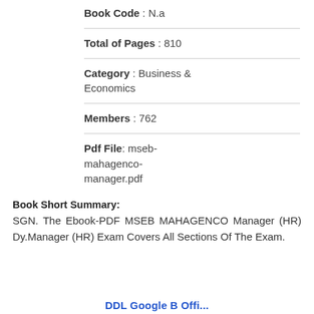Book Code : N.a
Total of Pages : 810
Category : Business & Economics
Members : 762
Pdf File: mseb-mahagenco-manager.pdf
Book Short Summary:
SGN. The Ebook-PDF MSEB MAHAGENCO Manager (HR) Dy.Manager (HR) Exam Covers All Sections Of The Exam.
DDL Google B Offi...